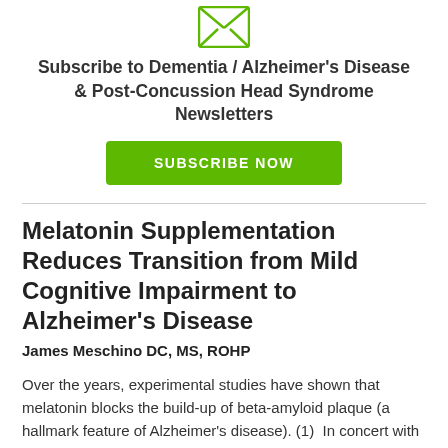[Figure (illustration): Green envelope icon with X mark (newsletter subscription icon)]
Subscribe to Dementia / Alzheimer's Disease & Post-Concussion Head Syndrome Newsletters
SUBSCRIBE NOW
Melatonin Supplementation Reduces Transition from Mild Cognitive Impairment to Alzheimer's Disease
James Meschino DC, MS, ROHP
Over the years, experimental studies have shown that melatonin blocks the build-up of beta-amyloid plaque (a hallmark feature of Alzheimer's disease). (1)  In concert with this, human prospective studies have also shownthat Alzheimer's disease patients tend